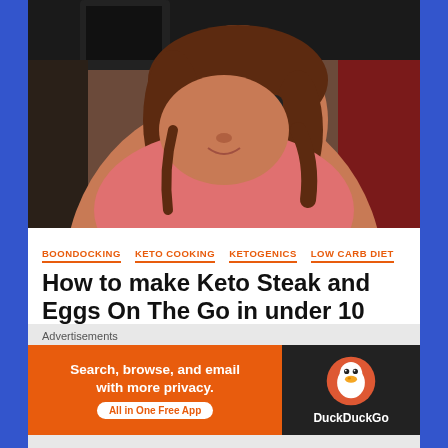[Figure (photo): A woman with sunglasses and a pink t-shirt, sitting in what appears to be a vehicle interior with a dark background]
BOONDOCKING   KETO COOKING   KETOGENICS   LOW CARB DIET
How to make Keto Steak and Eggs On The Go in under 10 minutes
May 20, 2018   BELLSRIDES
Advertisements
[Figure (screenshot): DuckDuckGo advertisement banner: 'Search, browse, and email with more privacy. All in One Free App' with DuckDuckGo logo on dark background]